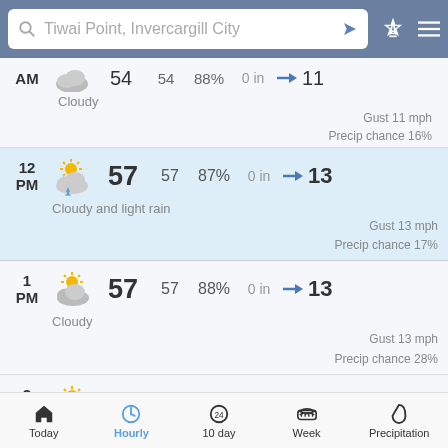Tiwai Point, Invercargill City
AM — Cloudy — 54 / 54 / 88% / 0 in / 11 — Gust 11 mph — Precip chance 16%
12 PM — Cloudy and light rain — 57 / 57 / 87% / 0 in / 13 — Gust 13 mph — Precip chance 17%
1 PM — Cloudy — 57 / 57 / 88% / 0 in / 13 — Gust 13 mph — Precip chance 28%
2 PM — Cloudy — 57 / 57 / 88% / 0 in / 11 — Gust 18 mph — Precip chance 39%
Today  Hourly  10 day  Week  Precipitation